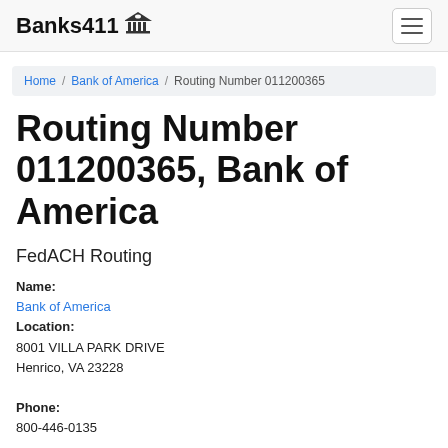Banks411 [bank icon]
Home / Bank of America / Routing Number 011200365
Routing Number 011200365, Bank of America
FedACH Routing
Name:
Bank of America
Location:
8001 VILLA PARK DRIVE
Henrico, VA 23228

Phone:
800-446-0135